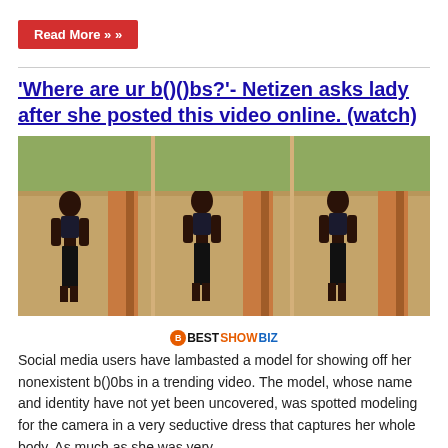Read More »
'Where are ur b()()bs?'- Netizen asks lady after she posted this video online. (watch)
[Figure (photo): Three-panel composite photo of a slim young woman modeling in a black bikini top and black shorts, walking toward the camera on a sandy/concrete outdoor area with brick walls and buildings in background. A 'BESTSHOWBIZ' watermark logo appears below the image.]
Social media users have lambasted a model for showing off her nonexistent b()0bs in a trending video. The model, whose name and identity have not yet been uncovered, was spotted modeling for the camera in a very seductive dress that captures her whole body. As much as she was very